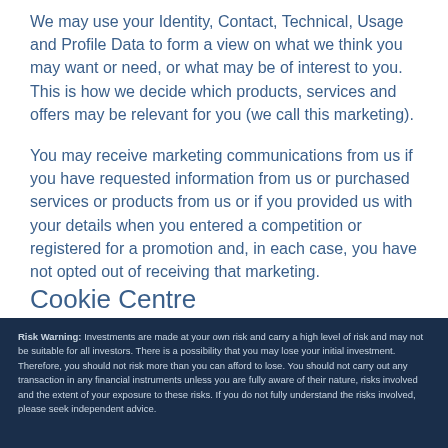We may use your Identity, Contact, Technical, Usage and Profile Data to form a view on what we think you may want or need, or what may be of interest to you. This is how we decide which products, services and offers may be relevant for you (we call this marketing).
You may receive marketing communications from us if you have requested information from us or purchased services or products from us or if you provided us with your details when you entered a competition or registered for a promotion and, in each case, you have not opted out of receiving that marketing.
Cookie Centre
Risk Warning: Investments are made at your own risk and carry a high level of risk and may not be suitable for all investors. There is a possibility that you may lose your initial investment. Therefore, you should not risk more than you can afford to lose. You should not carry out any transaction in any financial instruments unless you are fully aware of their nature, risks involved and the extent of your exposure to these risks. If you do not fully understand the risks involved, please seek independent advice.